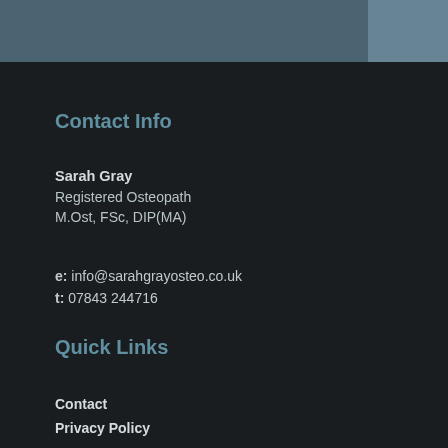Contact Info
Sarah Gray
Registered Osteopath
M.Ost, FSc, DIP(MA)
e: info@sarahgrayosteo.co.uk
t: 07843 244716
Quick Links
Contact
Privacy Policy